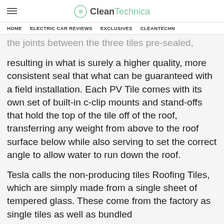CleanTechnica
HOME  ELECTRIC CAR REVIEWS  EXCLUSIVES  CLEANTECHN
the joints between the three tiles pre-sealed, resulting in what is surely a higher quality, more consistent seal that what can be guaranteed with a field installation. Each PV Tile comes with its own set of built-in c-clip mounts and stand-offs that hold the top of the tile off of the roof, transferring any weight from above to the roof surface below while also serving to set the correct angle to allow water to run down the roof.
Tesla calls the non-producing tiles Roofing Tiles, which are simply made from a single sheet of tempered glass. These come from the factory as single tiles as well as bundled